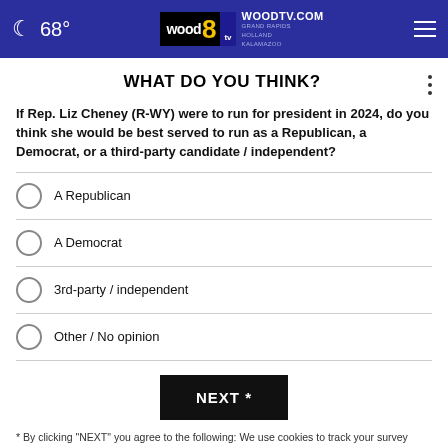68° WOODTV.COM GRAND RAPIDS HOLLAND KALAMAZOO
WHAT DO YOU THINK?
If Rep. Liz Cheney (R-WY) were to run for president in 2024, do you think she would be best served to run as a Republican, a Democrat, or a third-party candidate / independent?
A Republican
A Democrat
3rd-party / independent
Other / No opinion
NEXT *
* By clicking "NEXT" you agree to the following: We use cookies to track your survey answers. If you would like to continue with this survey, please read and agree to the CivicScience Privacy Policy and Terms of Service